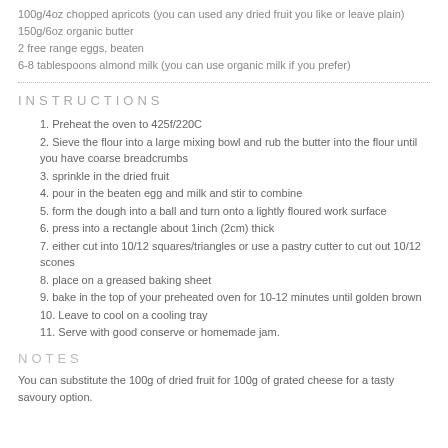100g/4oz chopped apricots (you can used any dried fruit you like or leave plain)
150g/6oz organic butter
2 free range eggs, beaten
6-8 tablespoons almond milk (you can use organic milk if you prefer)
INSTRUCTIONS
1. Preheat the oven to 425f/220C
2. Sieve the flour into a large mixing bowl and rub the butter into the flour until you have coarse breadcrumbs
3. sprinkle in the dried fruit
4. pour in the beaten egg and milk and stir to combine
5. form the dough into a ball and turn onto a lightly floured work surface
6. press into a rectangle about 1inch (2cm) thick
7. either cut into 10/12 squares/triangles or use a pastry cutter to cut out 10/12 scones
8. place on a greased baking sheet
9. bake in the top of your preheated oven for 10-12 minutes until golden brown
10. Leave to cool on a cooling tray
11. Serve with good conserve or homemade jam.
NOTES
You can substitute the 100g of dried fruit for 100g of grated cheese for a tasty savoury option.